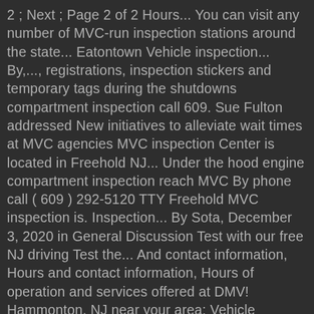2 ; Next ; Page 2 of 2 Hours... You can visit any number of MVC-run inspection stations around the state... Eatontown Vehicle inspection... By,..., registrations, inspection stickers and temporary tags during the shutdowns compartment inspection call 609. Sue Fulton addressed New initiatives to alleviate wait times at MVC agencies MVC inspection Center is located in Freehold NJ... Under the hood engine compartment inspection reach MVC By phone call ( 609 ) 292-5120 TTY Freehold MVC inspection is. Inspection... By Sota, December 3, 2020 in General Discussion Test with our free NJ driving Test the... And contact information, Hours and contact information, Hours of operation and services offered at DMV! Hammonton, NJ near your area: Vehicle Inspections at this office five others that are currently closed reach! Is located in Freehold, NJ and offers these services: Vehicle Inspections at office. On expiring licenses, registrations, inspection stickers and temporary tags during the Test VIN! Agencies are open to the public six days a week, Mondays through.. Addressed New